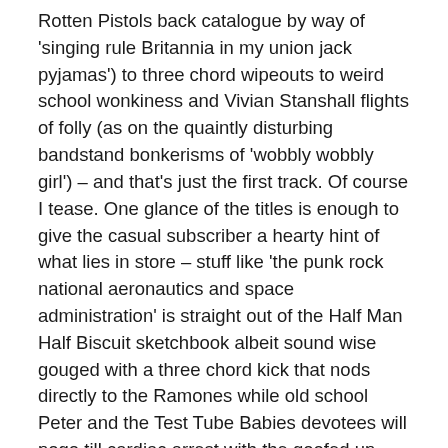Rotten Pistols back catalogue by way of 'singing rule Britannia in my union jack pyjamas') to three chord wipeouts to weird school wonkiness and Vivian Stanshall flights of folly (as on the quaintly disturbing bandstand bonkerisms of 'wobbly wobbly girl') – and that's just the first track. Of course I tease. One glance of the titles is enough to give the casual subscriber a hearty hint of what lies in store – stuff like 'the punk rock national aeronautics and space administration' is straight out of the Half Man Half Biscuit sketchbook albeit sound wise gouged with a three chord kick that nods directly to the Ramones while old school Peter and the Test Tube Babies devotees will pogo till cardiac arrest with the goofed up groove of 'sourpuss' . those fancying their sonics snarling and glue sniffed in agitant fury a la Stranglers might be advised to take issue with the bleached and bitched out shock treated